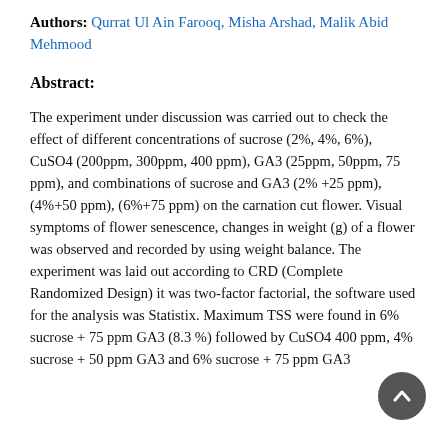Authors: Qurrat Ul Ain Farooq, Misha Arshad, Malik Abid Mehmood
Abstract:
The experiment under discussion was carried out to check the effect of different concentrations of sucrose (2%, 4%, 6%), CuSO4 (200ppm, 300ppm, 400 ppm), GA3 (25ppm, 50ppm, 75 ppm), and combinations of sucrose and GA3 (2% +25 ppm), (4%+50 ppm), (6%+75 ppm) on the carnation cut flower. Visual symptoms of flower senescence, changes in weight (g) of a flower was observed and recorded by using weight balance. The experiment was laid out according to CRD (Complete Randomized Design) it was two-factor factorial, the software used for the analysis was Statistix. Maximum TSS were found in 6% sucrose + 75 ppm GA3 (8.3 %) followed by CuSO4 400 ppm, 4% sucrose + 50 ppm GA3 and 6% sucrose + 75 ppm GA3